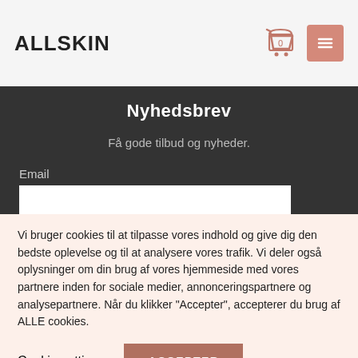ALLSKIN
Nyhedsbrev
Få gode tilbud og nyheder.
Email
Vi bruger cookies til at tilpasse vores indhold og give dig den bedste oplevelse og til at analysere vores trafik. Vi deler også oplysninger om din brug af vores hjemmeside med vores partnere inden for sociale medier, annonceringspartnere og analysepartnere. Når du klikker "Accepter", accepterer du brug af ALLE cookies.
Cookie settings
ACCEPTER